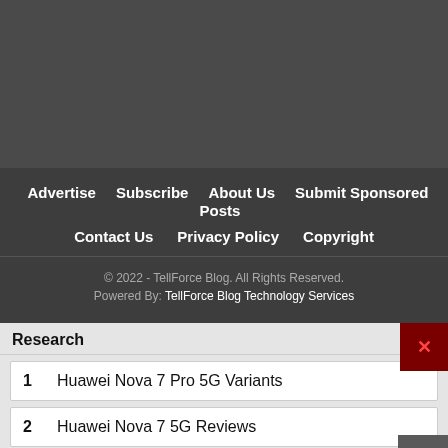[Figure (screenshot): Dark gray rectangular area at top of page, appears to be a cropped website image area]
Advertise   Subscribe   About Us   Submit Sponsored Posts   Contact Us   Privacy Policy   Copyright
© 2022 - TellForce Blog. All Rights Reserved.
Powered By: TellForce Blog Technology Services
Research
1   Huawei Nova 7 Pro 5G Variants
2   Huawei Nova 7 5G Reviews
Yahoo! Search | Sponsored